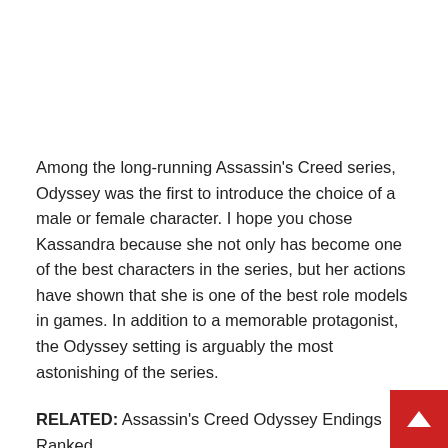Among the long-running Assassin's Creed series, Odyssey was the first to introduce the choice of a male or female character. I hope you chose Kassandra because she not only has become one of the best characters in the series, but her actions have shown that she is one of the best role models in games. In addition to a memorable protagonist, the Odyssey setting is arguably the most astonishing of the series.
RELATED: Assassin's Creed Odyssey Endings Ranked
The eleventh installment in the series, Odyssey was the first in the series not to follow the traditional power struggle between the Brotherhood of Assassins and the Order of the Templar...